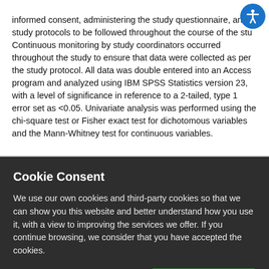informed consent, administering the study questionnaire, and the study protocols to be followed throughout the course of the study. Continuous monitoring by study coordinators occurred throughout the study to ensure that data were collected as per the study protocol. All data was double entered into an Access program and analyzed using IBM SPSS Statistics version 23, with a level of significance in reference to a 2-tailed, type 1 error set as <0.05. Univariate analysis was performed using the chi-square test or Fisher exact test for dichotomous variables and the Mann-Whitney test for continuous variables.
Cookie Consent
We use our own cookies and third-party cookies so that we can show you this website and better understand how you use it, with a view to improving the services we offer. If you continue browsing, we consider that you have accepted the cookies.